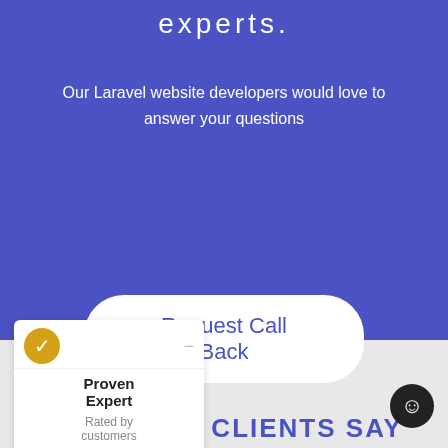experts.
Our Laravel website developers would love to answer your questions
Request Call Back
[Figure (infographic): ProvenExpert widget showing a gold checkmark seal, brand name 'Proven Expert', 'Rated by customers', '7 Customer reviews' in teal bar, and 'Authenticity of reviews' footer]
WHAT OUR CLIENTS SAY